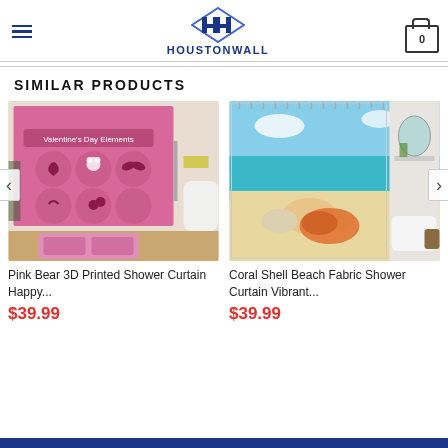HOUSTONWALL
SIMILAR PRODUCTS
[Figure (photo): Pink Bear 3D Printed Shower Curtain Happy Valentine's Day Elements with pink background and heart/bird motifs, shown in a bathroom setting with a pink bath mat]
Pink Bear 3D Printed Shower Curtain Happy...
$39.99
[Figure (photo): Coral Shell Beach Fabric Shower Curtain Vibrant beach scene with seashells and blue ocean/sky, shown in a bathroom setting]
Coral Shell Beach Fabric Shower Curtain Vibrant...
$39.99